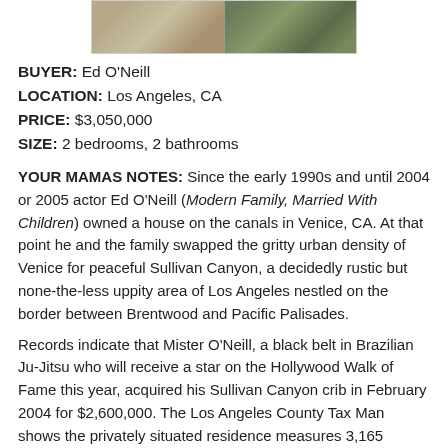[Figure (photo): Two side-by-side interior/exterior property photos in a bordered strip]
BUYER: Ed O'Neill
LOCATION: Los Angeles, CA
PRICE: $3,050,000
SIZE: 2 bedrooms, 2 bathrooms
YOUR MAMAS NOTES: Since the early 1990s and until 2004 or 2005 actor Ed O'Neill (Modern Family, Married With Children) owned a house on the canals in Venice, CA. At that point he and the family swapped the gritty urban density of Venice for peaceful Sullivan Canyon, a decidedly rustic but none-the-less uppity area of Los Angeles nestled on the border between Brentwood and Pacific Palisades.
Records indicate that Mister O'Neill, a black belt in Brazilian Ju-Jitsu who will receive a star on the Hollywood Walk of Fame this year, acquired his Sullivan Canyon crib in February 2004 for $2,600,000. The Los Angeles County Tax Man shows the privately situated residence measures 3,165 square feet and includes 4 bedrooms, 3 bathrooms and a swimming pool.